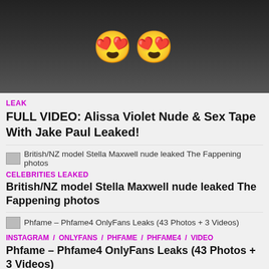[Figure (photo): Dark blurred video thumbnail with two heart-eyes emoji overlaid in the center]
LEAK
FULL VIDEO: Alissa Violet Nude & Sex Tape With Jake Paul Leaked!
[Figure (photo): Small thumbnail image for British/NZ model Stella Maxwell nude leaked The Fappening photos]
CELEBRITIES LEAKED
British/NZ model Stella Maxwell nude leaked The Fappening photos
[Figure (photo): Small thumbnail image for Phfame – Phfame4 OnlyFans Leaks (43 Photos + 3 Videos)]
INSTAGRAM / ONLYFANS / PHFAME / PHFAME4 / VIDEO
Phfame – Phfame4 OnlyFans Leaks (43 Photos + 3 Videos)